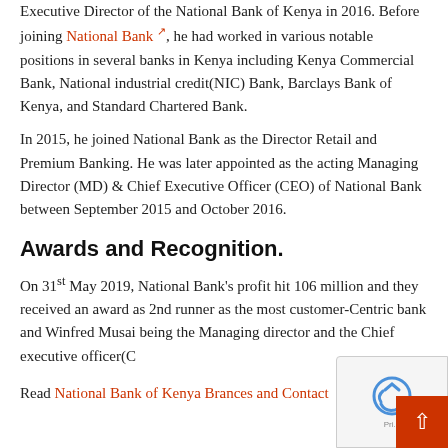Executive Director of the National Bank of Kenya in 2016. Before joining National Bank, he had worked in various notable positions in several banks in Kenya including Kenya Commercial Bank, National industrial credit(NIC) Bank, Barclays Bank of Kenya, and Standard Chartered Bank.
In 2015, he joined National Bank as the Director Retail and Premium Banking. He was later appointed as the acting Managing Director (MD) & Chief Executive Officer (CEO) of National Bank between September 2015 and October 2016.
Awards and Recognition.
On 31st May 2019, National Bank's profit hit 106 million and they received an award as 2nd runner as the most customer-Centric bank and Winfred Musai being the Managing director and the Chief executive officer(C...
Read National Bank of Kenya Brances and Contact...